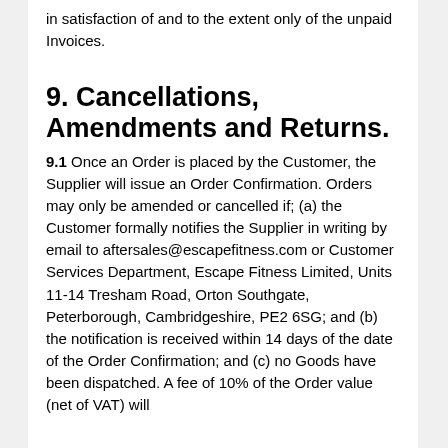in satisfaction of and to the extent only of the unpaid Invoices.
9. Cancellations, Amendments and Returns.
9.1 Once an Order is placed by the Customer, the Supplier will issue an Order Confirmation. Orders may only be amended or cancelled if; (a) the Customer formally notifies the Supplier in writing by email to aftersales@escapefitness.com or Customer Services Department, Escape Fitness Limited, Units 11-14 Tresham Road, Orton Southgate, Peterborough, Cambridgeshire, PE2 6SG; and (b) the notification is received within 14 days of the date of the Order Confirmation; and (c) no Goods have been dispatched. A fee of 10% of the Order value (net of VAT) will